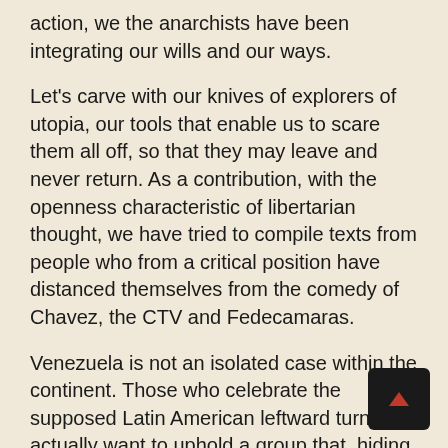action, we the anarchists have been integrating our wills and our ways.
Let's carve with our knives of explorers of utopia, our tools that enable us to scare them all off, so that they may leave and never return. As a contribution, with the openness characteristic of libertarian thought, we have tried to compile texts from people who from a critical position have distanced themselves from the comedy of Chavez, the CTV and Fedecamaras.
Venezuela is not an isolated case within the continent. Those who celebrate the supposed Latin American leftward turn, actually want to uphold a group that, hiding behind an anti-US speech, are signing contracts highly profitable to European capitalism and, with their nationalistic mongering, diverting people's attention away from the hunger and injustices they suffer.
As political power readjusts itself in several ways, the petty-bureaucrats and the lumpen-bourgeois keep